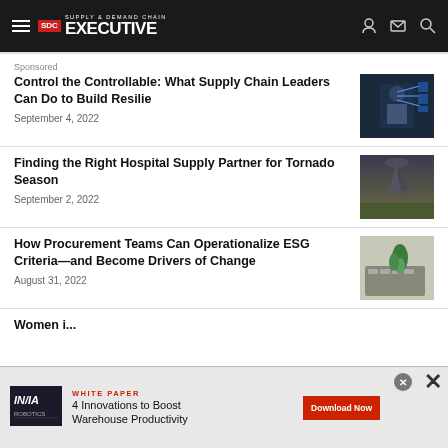Supply & Demand Chain Executive
Sponsored
Control the Controllable: What Supply Chain Leaders Can Do to Build Resilie
September 4, 2022
[Figure (photo): Person in dark suit with digital supply chain interface]
Finding the Right Hospital Supply Partner for Tornado Season
September 2, 2022
[Figure (photo): Tornado over a field]
How Procurement Teams Can Operationalize ESG Criteria—and Become Drivers of Change
August 31, 2022
[Figure (photo): Laptop keyboard with green plant]
Women i...
[Figure (infographic): Advertisement: Invia Robotics White Paper — 4 Innovations to Boost Warehouse Productivity. Download Now button.]